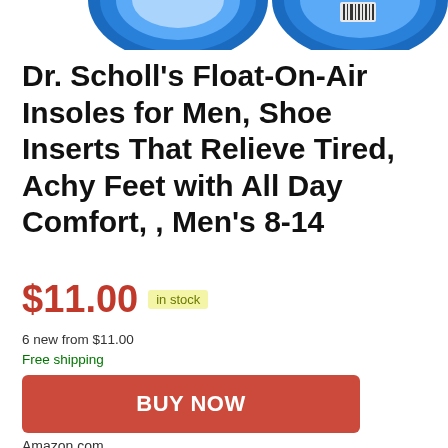[Figure (photo): Partial view of two Dr. Scholl's Float-On-Air Insoles product packaging (blue circular tops visible, cropped at top of page)]
Dr. Scholl's Float-On-Air Insoles for Men, Shoe Inserts That Relieve Tired, Achy Feet with All Day Comfort, , Men's 8-14
$11.00 in stock
6 new from $11.00
Free shipping
BUY NOW
Amazon.com
as of August 20, 2022 1:50 am ℹ
TOP